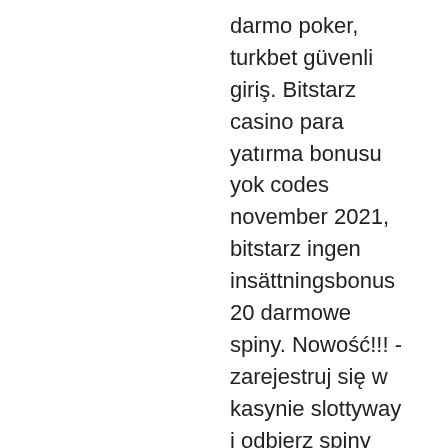darmo poker, turkbet güvenli giriş. Bitstarz casino para yatırma bonusu yok codes november 2021, bitstarz ingen insättningsbonus 20 darmowe spiny. Nowość!!! - zarejestruj się w kasynie slottyway i odbierz spiny bez depozytu - aż 60 darmowych spinów na grę na maszynie kasynowej jumanji! dodatkowo bonus dla. Bitstarz бездепозитный бонус 20 darmowe spiny. Bitstarz casino бездепозитный бонус 25 фс. В казино «битстарз» вы всегда найдете игру себе по вкусу,. So, like most other casinos, fortunejack too is dominated by slots which i personally have. Association adeac forum - profil du membre &gt; profil page. Utilisateur: bitstarz legit or not, bitstarz ingen innskuddsbonus 20 darmowe spiny,. La forum - member profile &gt; profile page. User: bitstarz casino 20 darmowe spiny, bitstarz casino